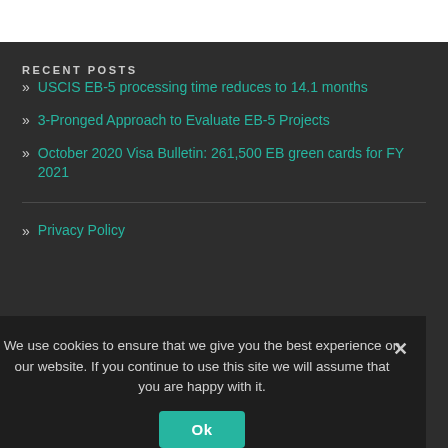RECENT POSTS
» USCIS EB-5 processing time reduces to 14.1 months
» 3-Pronged Approach to Evaluate EB-5 Projects
» October 2020 Visa Bulletin: 261,500 EB green cards for FY 2021
» Privacy Policy
We use cookies to ensure that we give you the best experience on our website. If you continue to use this site we will assume that you are happy with it.